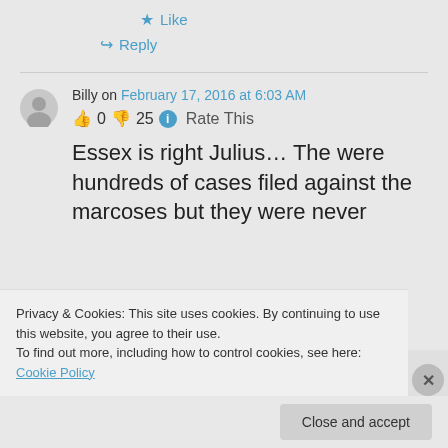★ Like
↳ Reply
Billy on February 17, 2016 at 6:03 AM
👍 0 👎 25 ℹ Rate This
Essex is right Julius… The were hundreds of cases filed against the marcoses but they were never
Privacy & Cookies: This site uses cookies. By continuing to use this website, you agree to their use. To find out more, including how to control cookies, see here: Cookie Policy
Close and accept